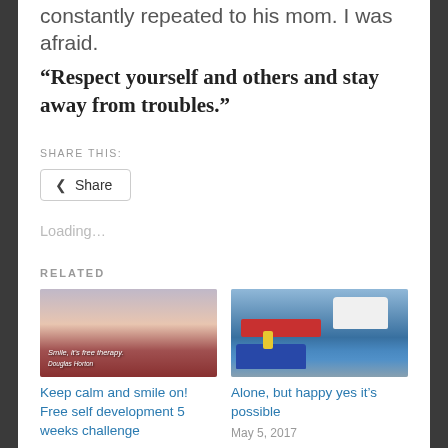constantly repeated to his mom. I was afraid.
“Respect yourself and others and stay away from troubles.”
SHARE THIS:
Share
Loading…
RELATED
[Figure (photo): Harbor scene at sunset with text overlay: 'Smile, it’s free therapy.' and 'Douglas Horton']
Keep calm and smile on! Free self development 5 weeks challenge
[Figure (photo): Marina with boats including a white boat, red boat, and blue boat with a person in yellow]
Alone, but happy yes it’s possible
May 5, 2017